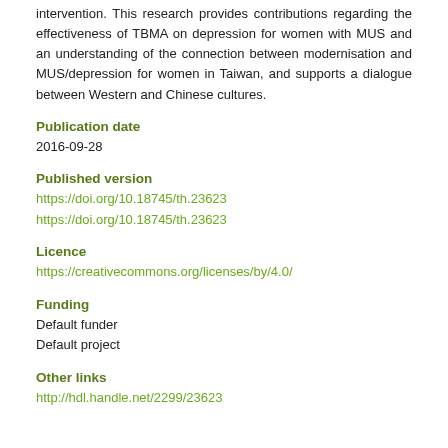intervention. This research provides contributions regarding the effectiveness of TBMA on depression for women with MUS and an understanding of the connection between modernisation and MUS/depression for women in Taiwan, and supports a dialogue between Western and Chinese cultures.
Publication date
2016-09-28
Published version
https://doi.org/10.18745/th.23623
https://doi.org/10.18745/th.23623
Licence
https://creativecommons.org/licenses/by/4.0/
Funding
Default funder
Default project
Other links
http://hdl.handle.net/2299/23623